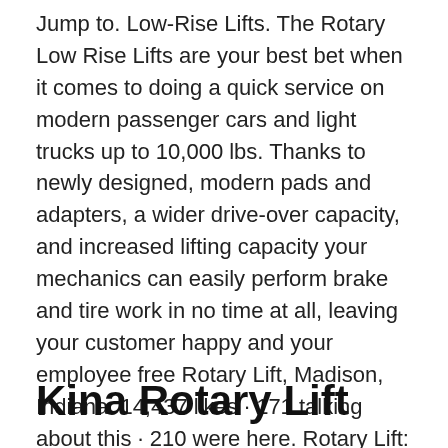Jump to. Low-Rise Lifts. The Rotary Low Rise Lifts are your best bet when it comes to doing a quick service on modern passenger cars and light trucks up to 10,000 lbs. Thanks to newly designed, modern pads and adapters, a wider drive-over capacity, and increased lifting capacity your mechanics can easily perform brake and tire work in no time at all, leaving your customer happy and your employee free Rotary Lift, Madison, Indiana. 14,437 likes · 171 talking about this · 210 were here. Rotary Lift: The World's Most Trusted Lift Download Rotary Lift Revit Families, Cut Sheets, Specs, Installation Guides, and More For Free With BIMsmith.
Kina Rotary Lift